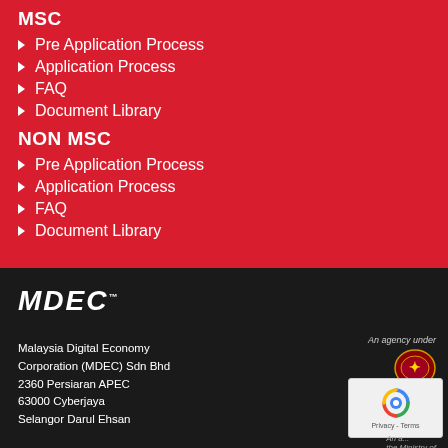MSC
Pre Application Process
Application Process
FAQ
Document Library
NON MSC
Pre Application Process
Application Process
FAQ
Document Library
[Figure (logo): MDEC logo in white italic bold text with trademark symbol on dark background]
Malaysia Digital Economy Corporation (MDEC) Sdn Bhd
2360 Persiaran APEC
63000 Cyberjaya
Selangor Darul Ehsan
An agency under
An a... the Ministry of